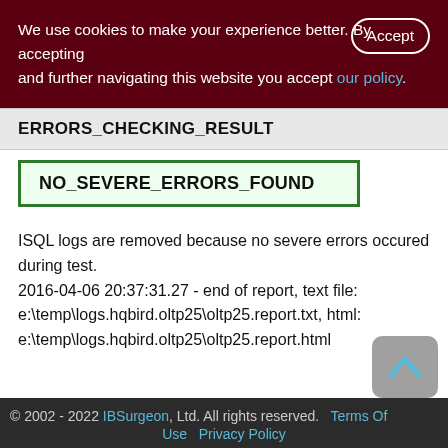We use cookies to make your experience better. By accepting and further navigating this website you accept our policy.
ERRORS_CHECKING_RESULT
NO_SEVERE_ERRORS_FOUND
ISQL logs are removed because no severe errors occured during test.
2016-04-06 20:37:31.27 - end of report, text file:
e:\temp\logs.hqbird.oltp25\oltp25.report.txt, html:
e:\temp\logs.hqbird.oltp25\oltp25.report.html
© 2002 - 2022 IBSurgeon, Ltd. All rights reserved.   Terms Of Use   Privacy Policy